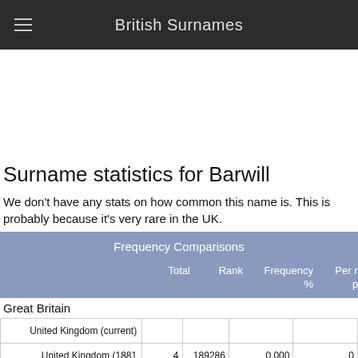British Surnames
Surname statistics for Barwill
We don't have any stats on how common this name is. This is probably because it's very rare in the UK.
|  | Total | Rank | Frequency % | Per million people |
| --- | --- | --- | --- | --- |
| United Kingdom (current) |  |  |  |  |
| United Kingdom (1881 | 4 | 189286 | 0.000 | 0 |